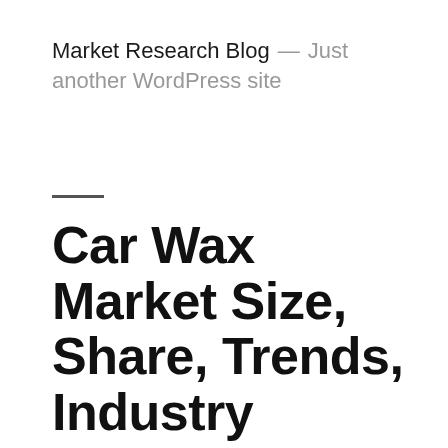Market Research Blog — Just another WordPress site
Car Wax Market Size, Share, Trends, Industry Analysis : Research During The Ongoing COVID-19 And Research Methodology